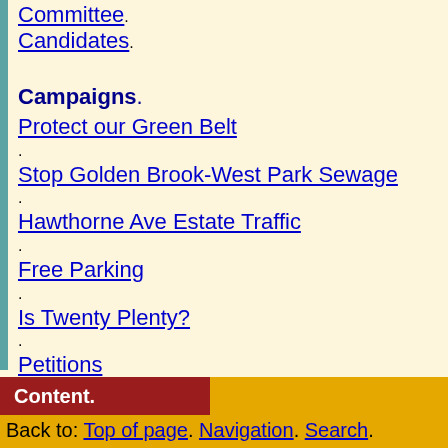Committee. Candidates.
Campaigns.
Protect our Green Belt.
Stop Golden Brook-West Park Sewage.
Hawthorne Ave Estate Traffic.
Free Parking.
Is Twenty Plenty?.
Petitions.
Get Involved.
Residents Survey.
Volunteer.
Join.
Donate.
Get Updates.
About.
Erewash Borough.
Content.
Back to: Top of page. Navigation. Search.